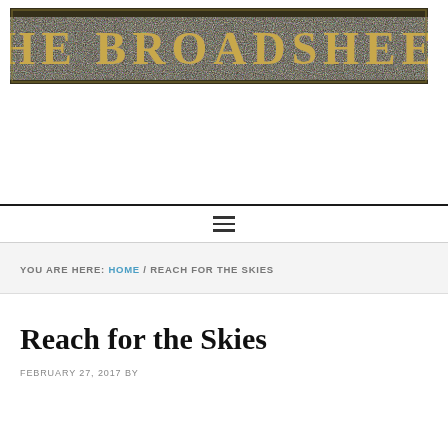[Figure (logo): The Broadsheet banner logo with gold lettering on a dark textured background]
≡
YOU ARE HERE: HOME / REACH FOR THE SKIES
Reach for the Skies
FEBRUARY 27, 2017 BY